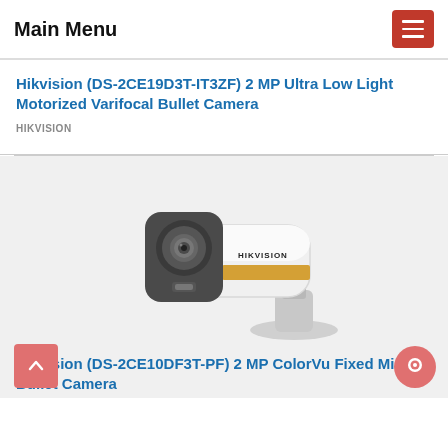Main Menu
Hikvision (DS-2CE19D3T-IT3ZF) 2 MP Ultra Low Light Motorized Varifocal Bullet Camera
HIKVISION
[Figure (photo): Hikvision white bullet security camera (DS-2CE10DF3T-PF) with gold stripe and HIKVISION branding, mounted on a bracket, viewed from slight angle]
Hikvision (DS-2CE10DF3T-PF) 2 MP ColorVu Fixed Mini Bullet Camera